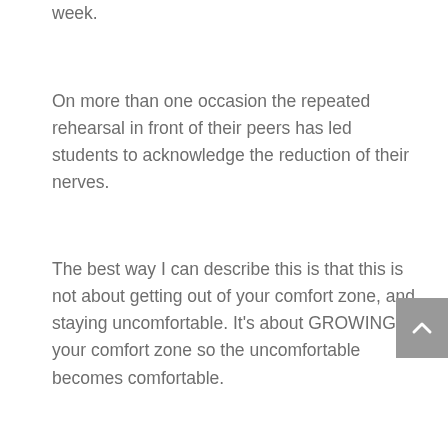week.
On more than one occasion the repeated rehearsal in front of their peers has led students to acknowledge the reduction of their nerves.
The best way I can describe this is that this is not about getting out of your comfort zone, and staying uncomfortable. It’s about GROWING your comfort zone so the uncomfortable becomes comfortable.